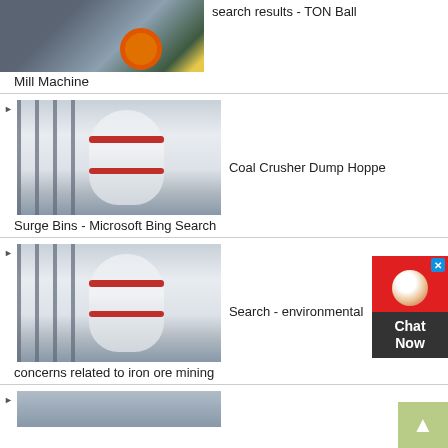[Figure (photo): Industrial ball mill machine in a factory yard with orange wheel visible, partial top crop]
search results - TON Ball
Mill Machine
[Figure (photo): Large white cylindrical grinding mill with red stripe bands and metal scaffolding structure]
Coal Crusher Dump Hoppe
Surge Bins - Microsoft Bing Search
[Figure (photo): Large white cylindrical grinding mill with red stripe bands and metal scaffolding structure (duplicate/similar image)]
Search - environmental
concerns related to iron ore mining
[Figure (photo): Partial view of another industrial machine, bottom of page]